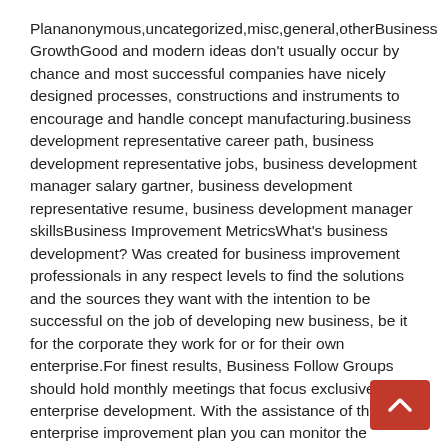Plananonymous,uncategorized,misc,general,otherBusiness GrowthGood and modern ideas don't usually occur by chance and most successful companies have nicely designed processes, constructions and instruments to encourage and handle concept manufacturing.business development representative career path, business development representative jobs, business development manager salary gartner, business development representative resume, business development manager skillsBusiness Improvement MetricsWhat's business development? Was created for business improvement professionals in any respect levels to find the solutions and the sources they want with the intention to be successful on the job of developing new business, be it for the corporate they work for or for their own enterprise.For finest results, Business Follow Groups should hold monthly meetings that focus exclusively on enterprise development. With the assistance of the enterprise improvement plan you can monitor the progress of all the current programs and evaluate the efficacy of your future endeavors.How To Create An Efficient Business Development TechniqueWith almost 30 years that I've labored as a CPA, I've had the chance to see